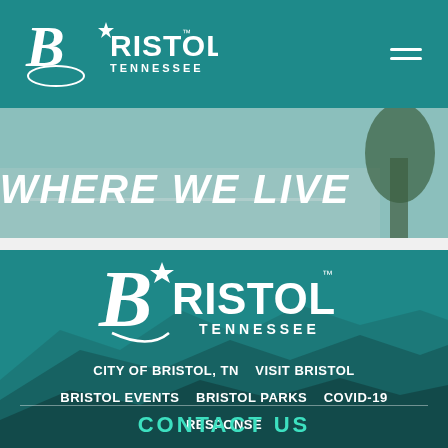[Figure (logo): Bristol Tennessee city logo in white on teal navigation bar, with hamburger menu icon]
[Figure (photo): Banner image with text WHERE WE LIVE on a street/outdoor scene background]
[Figure (logo): Bristol Tennessee large white logo on teal mountain background footer]
CITY OF BRISTOL, TN   VISIT BRISTOL   BRISTOL EVENTS   BRISTOL PARKS   COVID-19 RESPONSE
CONTACT US